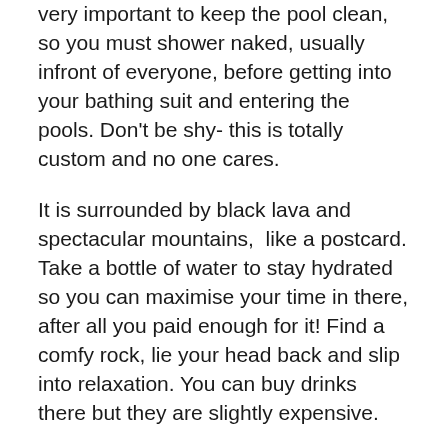very important to keep the pool clean, so you must shower naked, usually infront of everyone, before getting into your bathing suit and entering the pools. Don't be shy- this is totally custom and no one cares.
It is surrounded by black lava and spectacular mountains, like a postcard. Take a bottle of water to stay hydrated so you can maximise your time in there, after all you paid enough for it! Find a comfy rock, lie your head back and slip into relaxation. You can buy drinks there but they are slightly expensive.
There are little wooden stations in the pool that have mineral mud in them. Slop some out and DIY face mask, trust me it's really good for you and everyone does it! When you wash it off you'll feel like you've had 20 facial treatments. Just don't get it in your hair- it will be stiff for days.